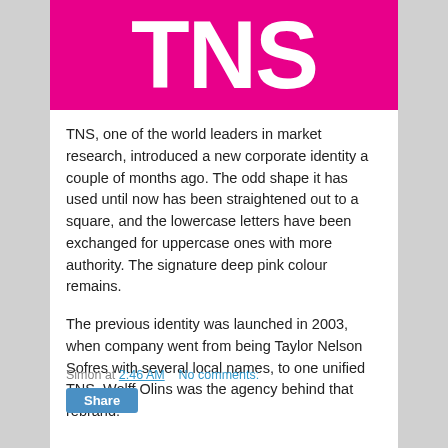[Figure (logo): TNS logo — white uppercase letters 'TNS' on deep pink/magenta square background]
TNS, one of the world leaders in market research, introduced a new corporate identity a couple of months ago. The odd shape it has used until now has been straightened out to a square, and the lowercase letters have been exchanged for uppercase ones with more authority. The signature deep pink colour remains.
The previous identity was launched in 2003, when company went from being Taylor Nelson Sofres with several local names, to one unified TNS. Wolff Olins was the agency behind that rebrand.
Simon at 2:46 AM   No comments:
Share